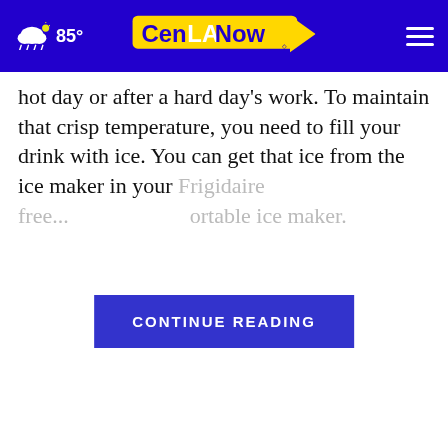85° CenLANow
hot day or after a hard day's work. To maintain that crisp temperature, you need to fill your drink with ice. You can get that ice from the ice maker in your Frigidaire free... ...ortable ice maker.
CONTINUE READING
WHAT DO YOU THINK?
How concerned are you, if at all, about threats of violence against the FBI agents who executed a search warrant on former President Trump's home of Mar-a-Lago?
Very concerned
Somewhat concerned
Not at all concerned